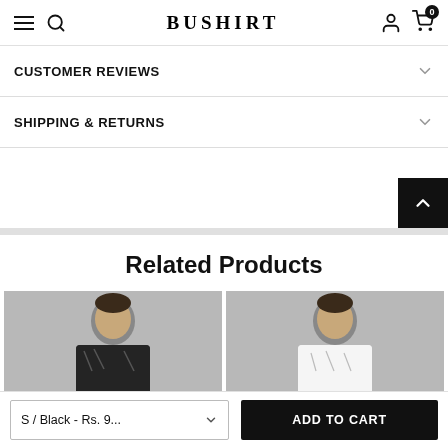BUSHIRT
CUSTOMER REVIEWS
SHIPPING & RETURNS
Related Products
[Figure (photo): Two product photos side by side showing male model wearing shirts, grey background]
S / Black - Rs. 9...
ADD TO CART